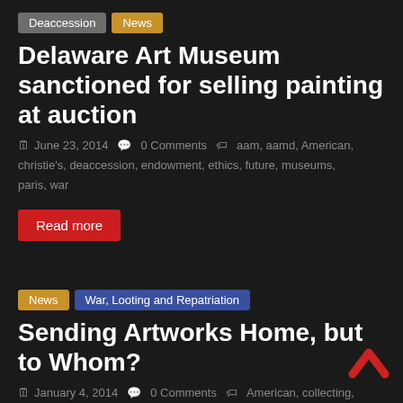Deaccession | News
Delaware Art Museum sanctioned for selling painting at auction
June 23, 2014  0 Comments  aam, aamd, American, christie's, deaccession, endowment, ethics, future, museums, paris, war
Read more
News | War, Looting and Repatriation
Sending Artworks Home, but to Whom?
January 4, 2014  0 Comments  American, collecting, deaccession, deaccessioning, donors, event, looting, museums, native american, paris, repatriation, science, theft, war